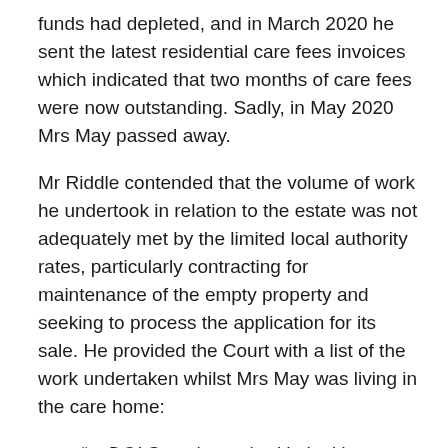funds had depleted, and in March 2020 he sent the latest residential care fees invoices which indicated that two months of care fees were now outstanding. Sadly, in May 2020 Mrs May passed away.
Mr Riddle contended that the volume of work he undertook in relation to the estate was not adequately met by the limited local authority rates, particularly contracting for maintenance of the empty property and seeking to process the application for its sale. He provided the Court with a list of the work undertaken whilst Mrs May was living in the care home:
“a. DOLS work required in looking to obtain authority to sell property. DOLS work now required by the CoP when looking to sell client’s properties now results in